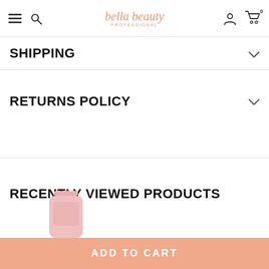bella beauty PROFESSIONAL
SHIPPING
RETURNS POLICY
RECENTLY VIEWED PRODUCTS
[Figure (photo): Pink product bottle partially visible at the bottom of the page]
ADD TO CART